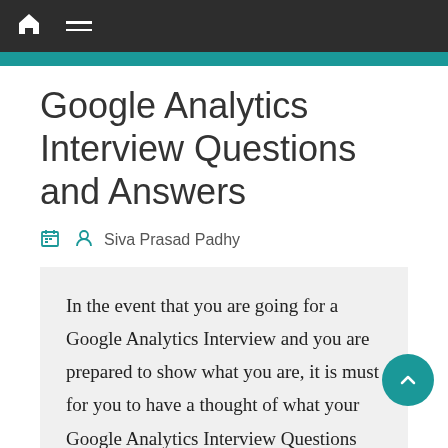Navigation bar with home icon and menu icon
Google Analytics Interview Questions and Answers
Siva Prasad Padhy
In the event that you are going for a Google Analytics Interview and you are prepared to show what you are, it is must for you to have a thought of what your Google Analytics Interview Questions will be. We, Tutorials Mania have prepared Google Analytics Questions and Answers